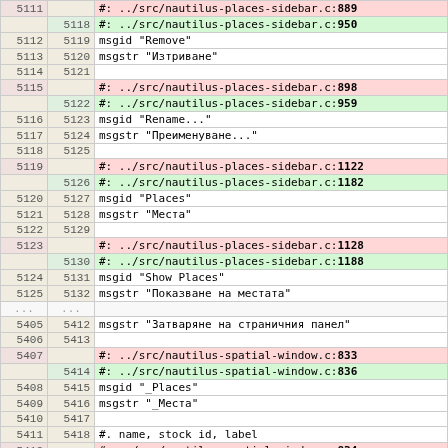| old | new | content |
| --- | --- | --- |
| 5111 |  | #: ../src/nautilus-places-sidebar.c:889 |
|  | 5118 | #: ../src/nautilus-places-sidebar.c:950 |
| 5112 | 5119 | msgid "Remove" |
| 5113 | 5120 | msgstr "Изтриване" |
| 5114 | 5121 |  |
| 5115 |  | #: ../src/nautilus-places-sidebar.c:898 |
|  | 5122 | #: ../src/nautilus-places-sidebar.c:959 |
| 5116 | 5123 | msgid "Rename..." |
| 5117 | 5124 | msgstr "Преименуване..." |
| 5118 | 5125 |  |
| 5119 |  | #: ../src/nautilus-places-sidebar.c:1122 |
|  | 5126 | #: ../src/nautilus-places-sidebar.c:1182 |
| 5120 | 5127 | msgid "Places" |
| 5121 | 5128 | msgstr "Места" |
| 5122 | 5129 |  |
| 5123 |  | #: ../src/nautilus-places-sidebar.c:1128 |
|  | 5130 | #: ../src/nautilus-places-sidebar.c:1188 |
| 5124 | 5131 | msgid "Show Places" |
| 5125 | 5132 | msgstr "Показване на местата" |
| ... | ... |  |
| 5405 | 5412 | msgstr "Затваряне на страничния панел" |
| 5406 | 5413 |  |
| 5407 |  | #: ../src/nautilus-spatial-window.c:833 |
|  | 5414 | #: ../src/nautilus-spatial-window.c:836 |
| 5408 | 5415 | msgid "_Places" |
| 5409 | 5416 | msgstr "_Места" |
| 5410 | 5417 |  |
| 5411 | 5418 | #. name, stock id, label |
| 5412 |  | #: ../src/nautilus-spatial-window.c:834 |
|  | 5419 | #: ../src/nautilus-spatial-window.c:837 |
| 5413 | 5420 | msgid "Open _Location..." |
| 5414 | 5421 | msgstr "Отваряне на местоположению..." |